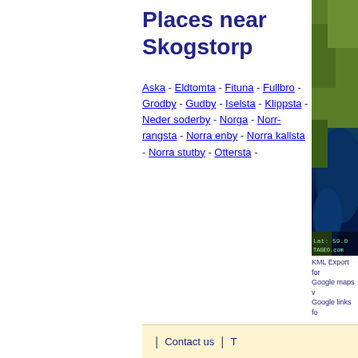Places near Skogstorp
Aska - Eldtomta - Fituna - Fullbro - Grodby - Gudby - Iselsta - Klippsta - Neder soderby - Norga - Norr-rangsta - Norra enby - Norra kallsta - Norra stutby - Ottersta -
[Figure (map): Satellite/terrain map showing Swedish landscape with lake and forest, labeled Lat: 59.0x, TAGEO.com]
KML Export for Google maps v Google links fo
| Contact us | T